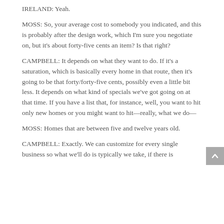IRELAND: Yeah.
MOSS: So, your average cost to somebody you indicated, and this is probably after the design work, which I'm sure you negotiate on, but it's about forty-five cents an item? Is that right?
CAMPBELL: It depends on what they want to do. If it's a saturation, which is basically every home in that route, then it's going to be that forty/forty-five cents, possibly even a little bit less. It depends on what kind of specials we've got going on at that time. If you have a list that, for instance, well, you want to hit only new homes or you might want to hit—really, what we do—
MOSS: Homes that are between five and twelve years old.
CAMPBELL: Exactly. We can customize for every single business so what we'll do is typically we take, if there is